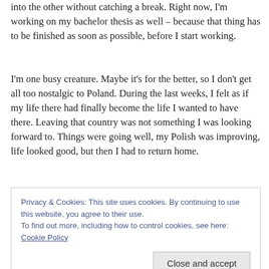into the other without catching a break. Right now, I'm working on my bachelor thesis as well – because that thing has to be finished as soon as possible, before I start working.
I'm one busy creature. Maybe it's for the better, so I don't get all too nostalgic to Poland. During the last weeks, I felt as if my life there had finally become the life I wanted to have there. Leaving that country was not something I was looking forward to. Things were going well, my Polish was improving, life looked good, but then I had to return home.
Privacy & Cookies: This site uses cookies. By continuing to use this website, you agree to their use.
To find out more, including how to control cookies, see here: Cookie Policy
Close and accept